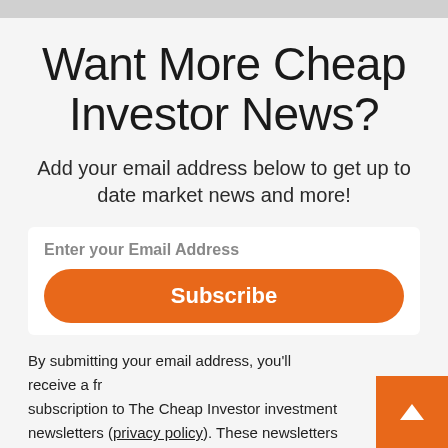Want More Cheap Investor News?
Add your email address below to get up to date market news and more!
Enter your Email Address
Subscribe
By submitting your email address, you'll receive a free subscription to The Cheap Investor investment newsletters (privacy policy). These newsletters are